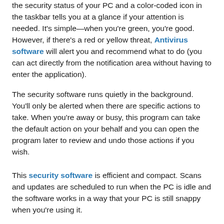the security status of your PC and a color-coded icon in the taskbar tells you at a glance if your attention is needed. It's simple—when you're green, you're good. However, if there's a red or yellow threat, Antivirus software will alert you and recommend what to do (you can act directly from the notification area without having to enter the application).
The security software runs quietly in the background. You'll only be alerted when there are specific actions to take. When you're away or busy, this program can take the default action on your behalf and you can open the program later to review and undo those actions if you wish.
This security software is efficient and compact. Scans and updates are scheduled to run when the PC is idle and the software works in a way that your PC is still snappy when you're using it.